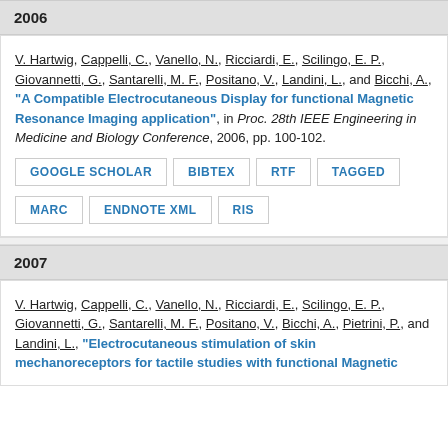2006
V. Hartwig, Cappelli, C., Vanello, N., Ricciardi, E., Scilingo, E. P., Giovannetti, G., Santarelli, M. F., Positano, V., Landini, L., and Bicchi, A., “A Compatible Electrocutaneous Display for functional Magnetic Resonance Imaging application”, in Proc. 28th IEEE Engineering in Medicine and Biology Conference, 2006, pp. 100-102.
GOOGLE SCHOLAR
BIBTEX
RTF
TAGGED
MARC
ENDNOTE XML
RIS
2007
V. Hartwig, Cappelli, C., Vanello, N., Ricciardi, E., Scilingo, E. P., Giovannetti, G., Santarelli, M. F., Positano, V., Bicchi, A., Pietrini, P., and Landini, L., “Electrocutaneous stimulation of skin mechanoreceptors for tactile studies with functional Magnetic